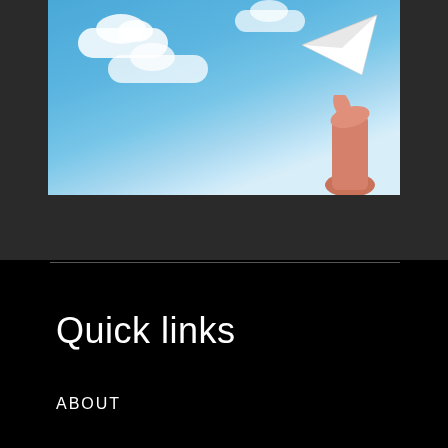[Figure (photo): A hand holding a white paper airplane against a blue sky with white clouds in the background.]
Quick links
ABOUT